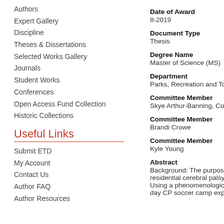Authors
Expert Gallery
Discipline
Theses & Dissertations
Selected Works Gallery
Journals
Student Works
Conferences
Open Access Fund Collection
Historic Collections
Useful Links
Submit ETD
My Account
Contact Us
Author FAQ
Author Resources
Date of Award
8-2019
Document Type
Thesis
Degree Name
Master of Science (MS)
Department
Parks, Recreation and Touris
Committee Member
Skye Arthur-Banning, Comm
Committee Member
Brandi Crowe
Committee Member
Kyle Young
Abstract
Background: The purpose of residential cerebral palsy (CP Using a phenomenological ap day CP soccer camp experie